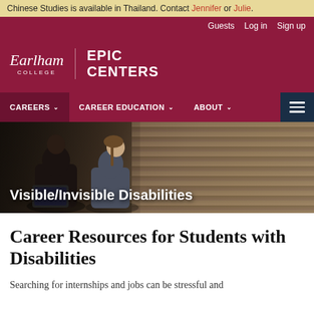Chinese Studies is available in Thailand. Contact Jennifer or Julie.
Guests  Log in  Sign up
[Figure (logo): Earlham College logo with EPIC CENTERS text on dark red background]
CAREERS  CAREER EDUCATION  ABOUT
[Figure (photo): Two students sitting outdoors with laptop, wooden slat wall in background]
Visible/Invisible Disabilities
Career Resources for Students with Disabilities
Searching for internships and jobs can be stressful and